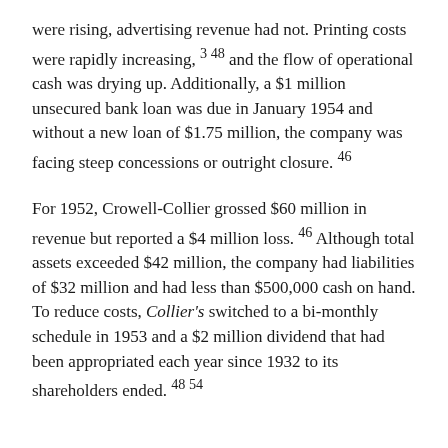were rising, advertising revenue had not. Printing costs were rapidly increasing, 3 48 and the flow of operational cash was drying up. Additionally, a $1 million unsecured bank loan was due in January 1954 and without a new loan of $1.75 million, the company was facing steep concessions or outright closure. 46
For 1952, Crowell-Collier grossed $60 million in revenue but reported a $4 million loss. 46 Although total assets exceeded $42 million, the company had liabilities of $32 million and had less than $500,000 cash on hand. To reduce costs, Collier's switched to a bi-monthly schedule in 1953 and a $2 million dividend that had been appropriated each year since 1932 to its shareholders ended. 48 54